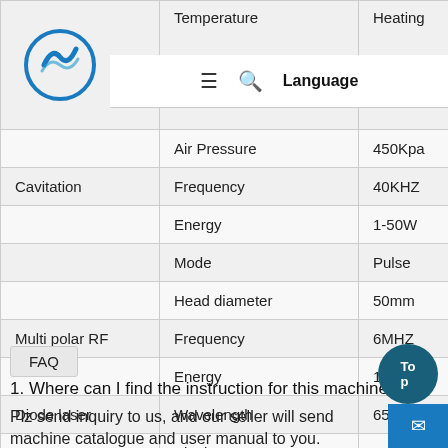| Category | Parameter | Value |
| --- | --- | --- |
|  | Temperature | Heating |
|  | Air Pressure | 450Kpa |
| Cavitation | Frequency | 40KHZ |
| Cavitation | Energy | 1-50W |
| Cavitation | Mode | Pulse |
| Cavitation | Head diameter | 50mm |
| Multi polar RF | Frequency | 6MHZ |
|  | Energy | 1-50J/C |
| Diode laser | Wavelength | 650nm |
|  | Single Laser Power | 100mv |
FAQ
1. Where can I find the instruction for this machine?
Plz send inquiry to us, and our seller will send machine catalogue and user manual to you.